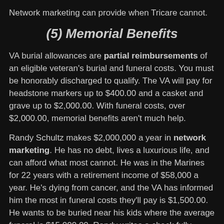Network marketing can provide when Tricare cannot.
(5) Memorial Benefits
VA burial allowances are partial reimbursements of an eligible veteran's burial and funeral costs. You must be honorably discharged to qualify. The VA will pay for headstone markers up to $400.00 and a casket and grave up to $2,000.00. With funeral costs, over $2,000.00, memorial benefits aren't much help.
Randy Schultz makes $2,000,000 a year in network marketing. He has no debt, lives a luxurious life, and can afford what most cannot. He was in the Marines for 22 years with a retirement income of $58,000 a year. He's dying from cancer, and the VA has informed him the most in funeral costs they'll pay is $1,500.00. He wants to be buried near his kids where the average funeral is $15,000.00. Randy writes a check fully paying for the funeral and does not think twice